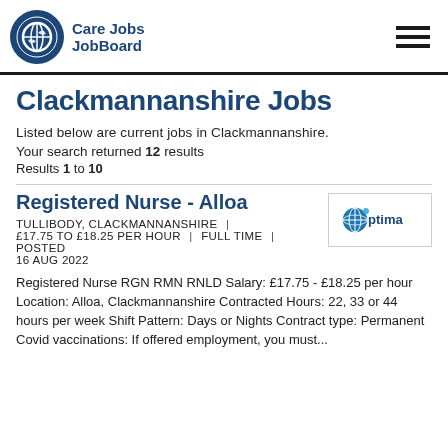[Figure (logo): Care Jobs JobBoard logo with circular icon showing hands and globe, dark navy text]
Clackmannanshire Jobs
Listed below are current jobs in Clackmannanshire.
Your search returned 12 results
Results 1 to 10
Registered Nurse - Alloa
[Figure (logo): Optima company logo with globe icon and blue text]
TULLIBODY, CLACKMANNANSHIRE | £17.75 TO £18.25 PER HOUR | FULL TIME | POSTED 16 AUG 2022
Registered Nurse RGN RMN RNLD Salary: £17.75 - £18.25 per hour Location: Alloa, Clackmannanshire Contracted Hours: 22, 33 or 44 hours per week Shift Pattern: Days or Nights Contract type: Permanent Covid vaccinations: If offered employment, you must...